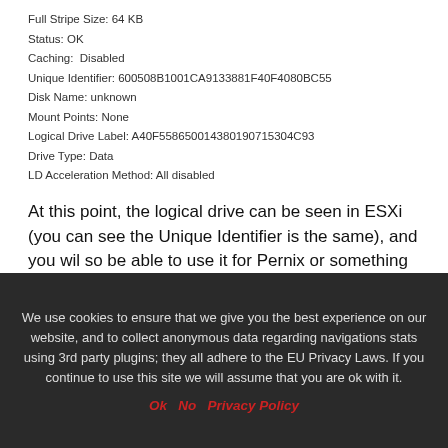Full Stripe Size: 64 KB
Status: OK
Caching:  Disabled
Unique Identifier: 600508B1001CA9133881F40F4080BC55
Disk Name: unknown
Mount Points: None
Logical Drive Label: A40F558650014380190715304C93
Drive Type: Data
LD Acceleration Method: All disabled
At this point, the logical drive can be seen in ESXi (you can see the Unique Identifier is the same), and you wil so be able to use it for Pernix or something else:
[Figure (screenshot): ESXi Datastore/Devices panel screenshot showing a table with columns: Name, Runtime Name, Operational State, LUN, Type, Drive Type, Transport. Three rows visible with vmhba28:C0:T5:L0, vmhba28:C0:T6:L0, vmhba28:C0:T4:L0 all showing Mounted, 0, disk, Non-SSD, iSCSI.]
We use cookies to ensure that we give you the best experience on our website, and to collect anonymous data regarding navigations stats using 3rd party plugins; they all adhere to the EU Privacy Laws. If you continue to use this site we will assume that you are ok with it.
Ok   No   Privacy Policy